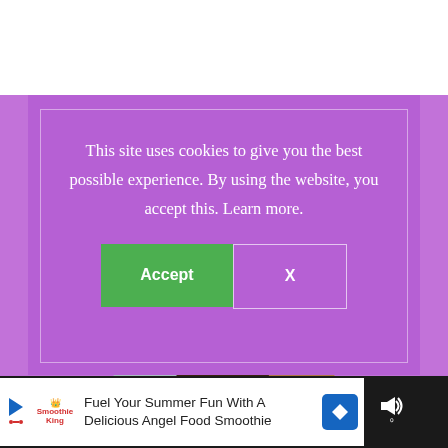[Figure (screenshot): Website screenshot with purple cookie consent modal overlay showing accept and X buttons, a circular headshot photo of a smiling woman with glasses and dark hair, and an advertisement banner at the bottom for Smoothie King 'Fuel Your Summer Fun With A Delicious Angel Food Smoothie']
This site uses cookies to give you the best possible experience. By using the website, you accept this. Learn more.
Accept
X
Fuel Your Summer Fun With A Delicious Angel Food Smoothie